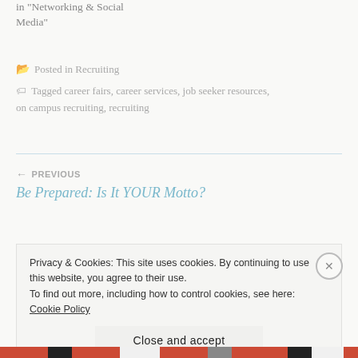in "Networking & Social Media"
Posted in Recruiting
Tagged career fairs, career services, job seeker resources, on campus recruiting, recruiting
← PREVIOUS
Be Prepared: Is It YOUR Motto?
Privacy & Cookies: This site uses cookies. By continuing to use this website, you agree to their use.
To find out more, including how to control cookies, see here: Cookie Policy
Close and accept